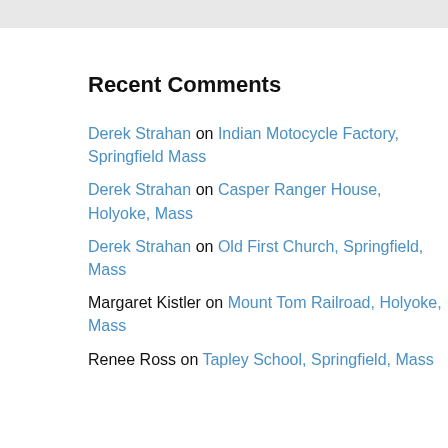Recent Comments
Derek Strahan on Indian Motocycle Factory, Springfield Mass
Derek Strahan on Casper Ranger House, Holyoke, Mass
Derek Strahan on Old First Church, Springfield, Mass
Margaret Kistler on Mount Tom Railroad, Holyoke, Mass
Renee Ross on Tapley School, Springfield, Mass